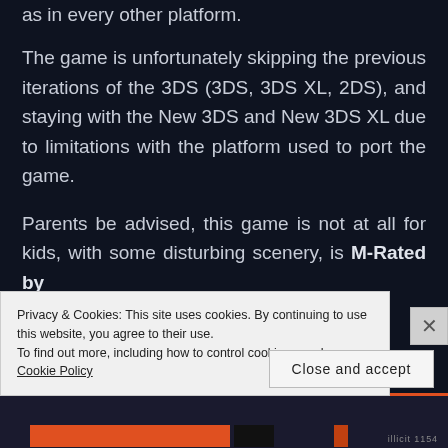as in every other platform.

The game is unfortunately skipping the previous iterations of the 3DS (3DS, 3DS XL, 2DS), and staying with the New 3DS and New 3DS XL due to limitations with the platform used to port the game.

Parents be advised, this game is not at all for kids, with some disturbing scenery, is M-Rated by
Privacy & Cookies: This site uses cookies. By continuing to use this website, you agree to their use.
To find out more, including how to control cookies, see here: Cookie Policy
Close and accept
illicit 1154